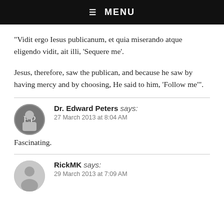☰  MENU
“Vidit ergo Iesus publicanum, et quia miserando atque eligendo vidit, ait illi, ‘Sequere me’.
Jesus, therefore, saw the publican, and because he saw by having mercy and by choosing, He said to him, ‘Follow me’”.
Dr. Edward Peters says:
27 March 2013 at 8:04 AM
Fascinating.
RickMK says:
29 March 2013 at 7:09 AM